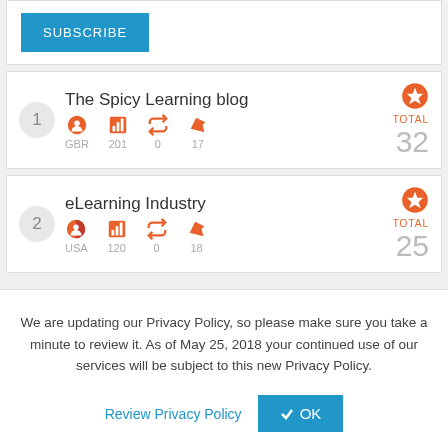SUBSCRIBE
The Spicy Learning blog | GBR 201 0 17 | TOTAL 32
eLearning Industry | USA 120 0 18 | TOTAL 25
We are updating our Privacy Policy, so please make sure you take a minute to review it. As of May 25, 2018 your continued use of our services will be subject to this new Privacy Policy.
Review Privacy Policy
✔ OK